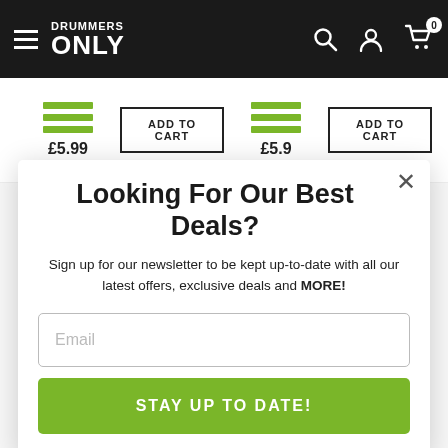Drummers Only — navigation header with hamburger menu, logo, search, account, and cart icons
[Figure (screenshot): Product listing bar showing two product thumbnails (green line icons) with prices £5.99 and £5.9 and two ADD TO CART buttons]
Looking For Our Best Deals?
Sign up for our newsletter to be kept up-to-date with all our latest offers, exclusive deals and MORE!
Email
STAY UP TO DATE!